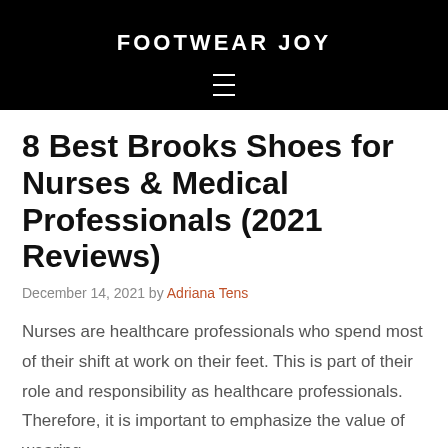FOOTWEAR JOY
8 Best Brooks Shoes for Nurses & Medical Professionals (2021 Reviews)
December 14, 2021 by Adriana Tens
Nurses are healthcare professionals who spend most of their shift at work on their feet. This is part of their role and responsibility as healthcare professionals. Therefore, it is important to emphasize the value of wearing...